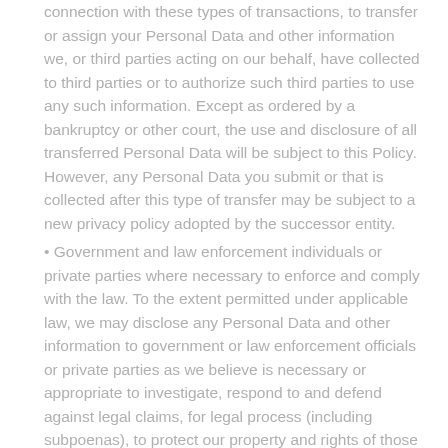connection with these types of transactions, to transfer or assign your Personal Data and other information we, or third parties acting on our behalf, have collected to third parties or to authorize such third parties to use any such information. Except as ordered by a bankruptcy or other court, the use and disclosure of all transferred Personal Data will be subject to this Policy. However, any Personal Data you submit or that is collected after this type of transfer may be subject to a new privacy policy adopted by the successor entity.
• Government and law enforcement individuals or private parties where necessary to enforce and comply with the law. To the extent permitted under applicable law, we may disclose any Personal Data and other information to government or law enforcement officials or private parties as we believe is necessary or appropriate to investigate, respond to and defend against legal claims, for legal process (including subpoenas), to protect our property and rights of those of a third party, to protect us against